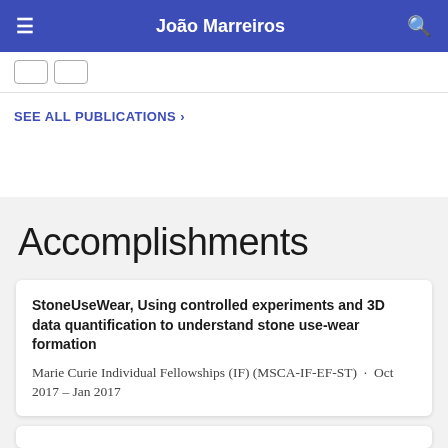João Marreiros
SEE ALL PUBLICATIONS ›
Accomplishments
StoneUseWear, Using controlled experiments and 3D data quantification to understand stone use-wear formation
Marie Curie Individual Fellowships (IF) (MSCA-IF-EF-ST) · Oct 2017 – Jan 2017